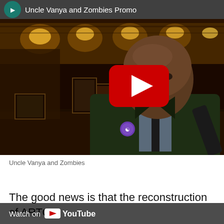[Figure (screenshot): YouTube video thumbnail for 'Uncle Vanya and Zombies Promo' showing a bald man in a suit holding an object, with a red YouTube play button overlay and 'Watch on YouTube' bar at the bottom]
Uncle Vanya and Zombies
The good news is that the reconstruction of ARTO's